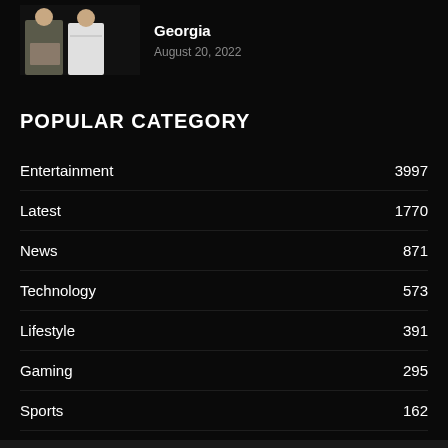[Figure (photo): Thumbnail image of two people against dark background]
Georgia
August 20, 2022
POPULAR CATEGORY
Entertainment 3997
Latest 1770
News 871
Technology 573
Lifestyle 391
Gaming 295
Sports 162
Food 56